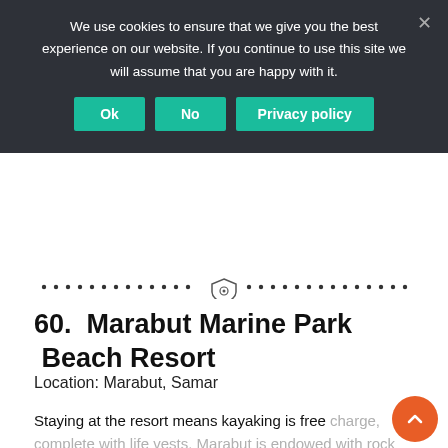We use cookies to ensure that we give you the best experience on our website. If you continue to use this site we will assume that you are happy with it.
Ok | No | Privacy policy
[Figure (other): Decorative dotted divider line with a small shield/badge icon in the center]
60.  Marabut Marine Park  Beach Resort
Location: Marabut, Samar
Staying at the resort means kayaking is free charge, complete with life vests. Marabut is endowed with rock formations, rock islets